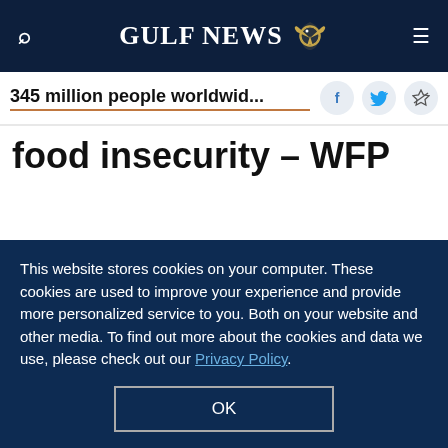GULF NEWS
345 million people worldwid...
food insecurity – WFP
[Figure (infographic): Gulf News subscription popup with logo, eagle emblem, offer text 'A special offer for our readers' and 'Get the two years All-Access subscription now']
This website stores cookies on your computer. These cookies are used to improve your experience and provide more personalized service to you. Both on your website and other media. To find out more about the cookies and data we use, please check out our Privacy Policy.